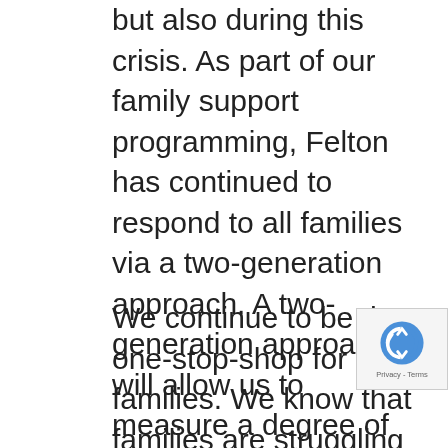but also during this crisis. As part of our family support programming, Felton has continued to respond to all families via a two-generation approach. A two-generation approach will allow us to measure a degree of interruption of the perpetual cycle of impoverished households, bolster their children's opportunities for learning and success in education and beyond, and to empower families to have a more resilient outlook for themselves and their children, particularly after COVID-19.
We continue to be the one-stop-shop for families. We know that families are struggling right now and since COVID-19, we have been distributing essential food, household, and hygiene items to more than 350 famili...